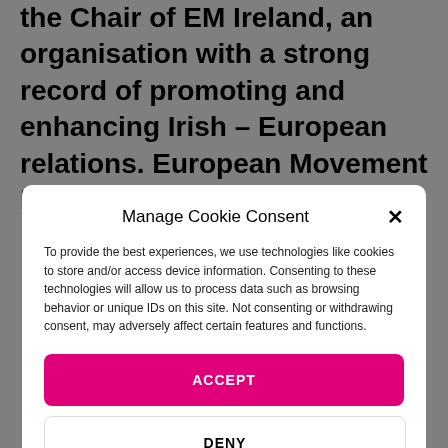the Chair of EM Ireland, an organisation with a strong record of promoting and enhancing Irish – European relations. European Movement Ireland
Manage Cookie Consent
To provide the best experiences, we use technologies like cookies to store and/or access device information. Consenting to these technologies will allow us to process data such as browsing behavior or unique IDs on this site. Not consenting or withdrawing consent, may adversely affect certain features and functions.
ACCEPT
DENY
VIEW PREFERENCES
Terms & Conditions